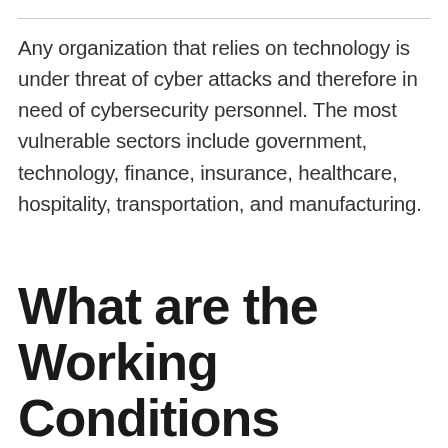Any organization that relies on technology is under threat of cyber attacks and therefore in need of cybersecurity personnel. The most vulnerable sectors include government, technology, finance, insurance, healthcare, hospitality, transportation, and manufacturing.
What are the Working Conditions for Cybersecurity